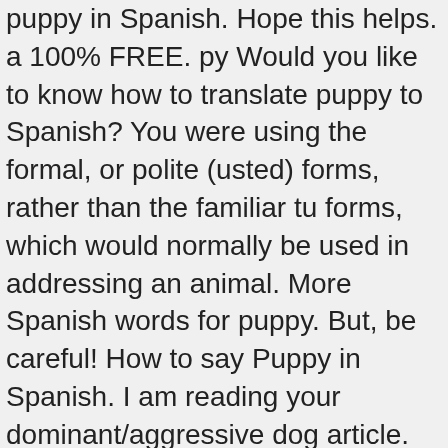puppy in Spanish. Hope this helps. a 100% FREE. py Would you like to know how to translate puppy to Spanish? You were using the formal, or polite (usted) forms, rather than the familiar tu forms, which would normally be used in addressing an animal. More Spanish words for puppy. But, be careful! How to say Puppy in Spanish. I am reading your dominant/aggressive dog article. You can complete the translation of puppy given by the English-Spanish Collins dictionary with other dictionaries such as: Wikipedia, Lexilogos, Larousse dictionary, Le Robert, Oxford, Grévisse How to say puppy in Spanish. In Spanish, the endings of some words are changed to o or a depending on whether you are speaking about a male or female. You call a cat a gato. But when you see the end result, itâs worth it, even if itâs frustrating,â says Lisa, a thirty-something Hispanic woman, of her black Lab, Perkins. Well hope that helped. If you're asking how to say puppy in Spanish, then it's 'perrito.' but i went on google translate and typed in cute. 5 0. âWhat a wonderful experience for our Doxie and ourselves. daa Polish is an extremely hard language to learn, so why hasn't Poland